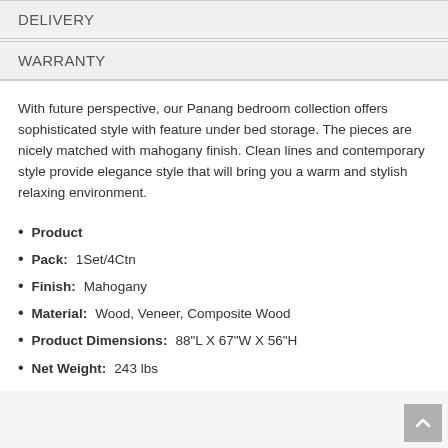DELIVERY
WARRANTY
With future perspective, our Panang bedroom collection offers sophisticated style with feature under bed storage. The pieces are nicely matched with mahogany finish. Clean lines and contemporary style provide elegance style that will bring you a warm and stylish relaxing environment.
Product
Pack: 1Set/4Ctn
Finish: Mahogany
Material: Wood, Veneer, Composite Wood
Product Dimensions: 88"L X 67"W X 56"H
Net Weight: 243 lbs